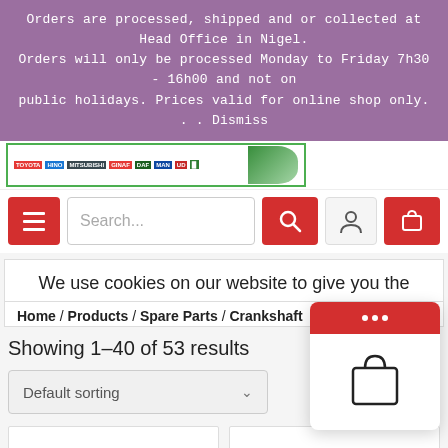Orders are processed, shipped and or collected at Head Office in Nigel. Orders will only be processed Monday to Friday 7h30 - 16h00 and not on public holidays. Prices valid for online shop only. . . Dismiss
[Figure (screenshot): E-commerce store logo strip with brand logos and decorative leaf/green background on the right]
[Figure (screenshot): Navigation bar with hamburger menu button, search field, search button, user icon, and cart button]
We use cookies on our website to give you the
Home / Products / Spare Parts / Crankshaft
Showing 1–40 of 53 results
[Figure (screenshot): Default sorting dropdown and grid/list view toggle with floating shopping bag popup]